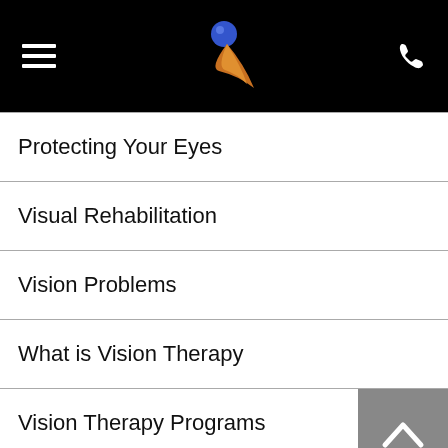[Figure (screenshot): Mobile app navigation header with black background, hamburger menu icon on left, spherical logo in center, phone icon on right]
Protecting Your Eyes
Visual Rehabilitation
Vision Problems
What is Vision Therapy
Vision Therapy Programs
We Can Help With
Newsletters